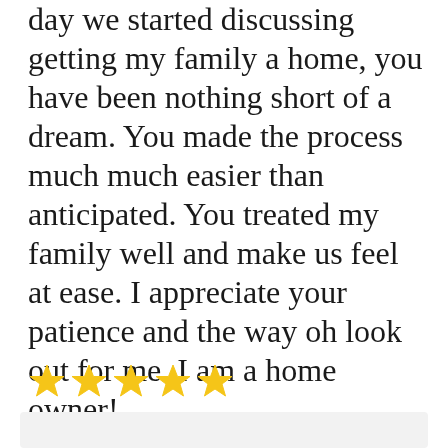day we started discussing getting my family a home, you have been nothing short of a dream. You made the process much much easier than anticipated. You treated my family well and make us feel at ease. I appreciate your patience and the way oh look out for me. I am a home owner!
[Figure (other): Five gold/yellow star rating icons in a row]